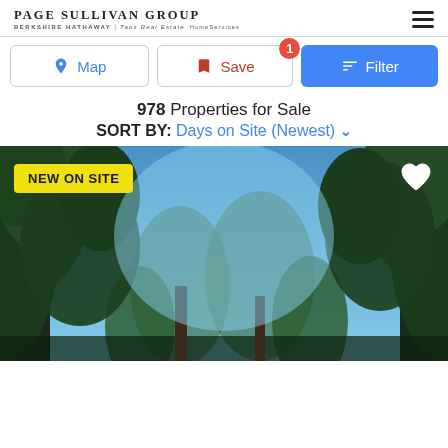Page Sullivan Group | Berkshire Hathaway | Taos Real Estate
Map | Save (1) | Filter
978 Properties for Sale
SORT BY: Days on Site (Newest)
[Figure (photo): Upward view through tall pine trees with blue sky visible between the canopy. Forest landscape listing photo with 'NEW ON SITE' yellow badge in top left and heart icon in top right.]